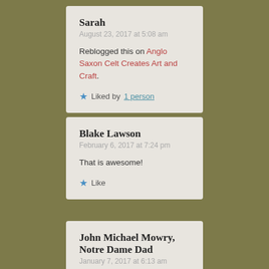Sarah
August 23, 2017 at 5:08 am
Reblogged this on Anglo Saxon Celt Creates Art and Craft.
Liked by 1 person
Blake Lawson
February 6, 2017 at 7:24 pm
That is awesome!
Like
John Michael Mowry, Notre Dame Dad
January 7, 2017 at 6:13 am